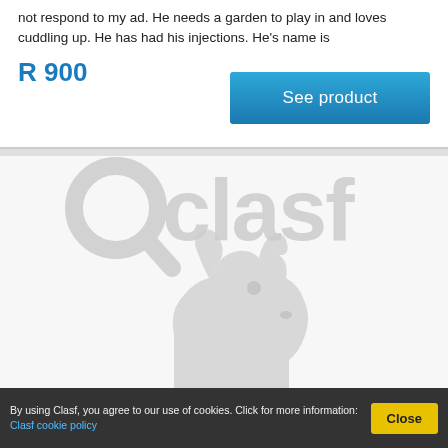not respond to my ad. He needs a garden to play in and loves cuddling up. He has had his injections. He's name is
R 900
See product
[Figure (logo): Clasf watermark logo with magnifying glass icon and dog silhouette in light grey]
By using Clasf, you agree to our use of cookies. Click for more information: Clasf cookie policy